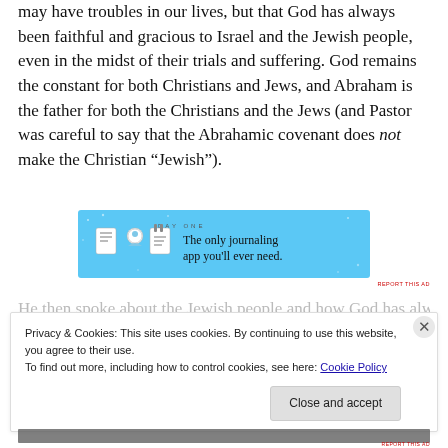may have troubles in our lives, but that God has always been faithful and gracious to Israel and the Jewish people, even in the midst of their trials and suffering. God remains the constant for both Christians and Jews, and Abraham is the father for both the Christians and the Jews (and Pastor was careful to say that the Abrahamic covenant does not make the Christian “Jewish”).
[Figure (other): Advertisement banner for DAY ONE journaling app with blue background, icons of a notebook, person, and notepad, and text 'The only journaling app you'll ever need.']
Privacy & Cookies: This site uses cookies. By continuing to use this website, you agree to their use.
To find out more, including how to control cookies, see here: Cookie Policy